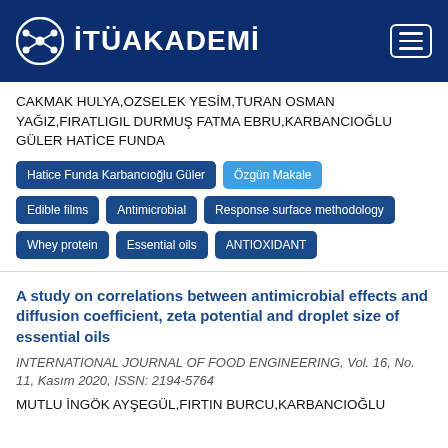İTÜAKADEMİ
CAKMAK HULYA,OZSELEK YESİM,TURAN OSMAN YAĞIZ,FIRATLIGIL DURMUŞ FATMA EBRU,KARBANCIOĞLU GÜLER HATİCE FUNDA
Hatice Funda Karbancıoğlu Güler
Özgün Makale
Edible films
Antimicrobial
Response surface methodology
Whey protein
Essential oils
ANTIOXIDANT
A study on correlations between antimicrobial effects and diffusion coefficient, zeta potential and droplet size of essential oils
INTERNATIONAL JOURNAL OF FOOD ENGINEERING, Vol. 16, No. 11, Kasım 2020, ISSN: 2194-5764
MUTLU İNGÖK AYŞEGÜL,FIRTIN BURCU,KARBANCIOĞLU